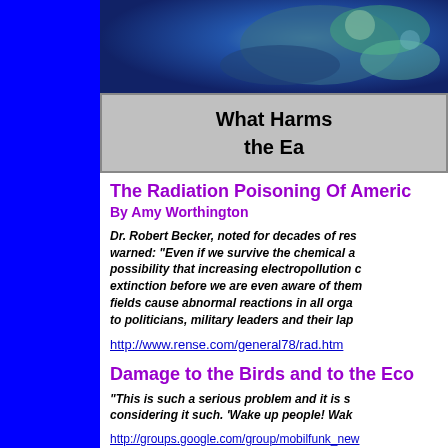[Figure (photo): Coral reef or marine life photograph with blue/green tones, partially visible at top right]
What Harms the Ea
The Radiation Poisoning Of Americ
By Amy Worthington
Dr. Robert Becker, noted for decades of res warned: "Even if we survive the chemical a possibility that increasing electropollution c extinction before we are even aware of them fields cause abnormal reactions in all orga to politicians, military leaders and their lap
http://www.rense.com/general78/rad.htm
Damage to the Birds and to the Eco
"This is such a serious problem and it is s considering it such. 'Wake up people! Wak
http://groups.google.com/group/mobilfunk_new